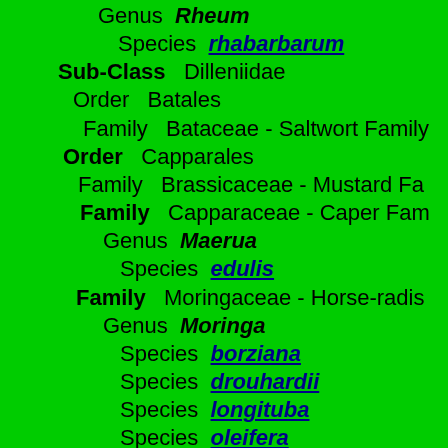Genus  Rheum
Species  rhabarbarum
Sub-Class  Dilleniidae
Order  Batales
Family  Bataceae - Saltwort Family
Order  Capparales
Family  Brassicaceae - Mustard Family
Family  Capparaceae - Caper Family
Genus  Maerua
Species  edulis
Family  Moringaceae - Horse-radish Family
Genus  Moringa
Species  borziana
Species  drouhardii
Species  longituba
Species  oleifera